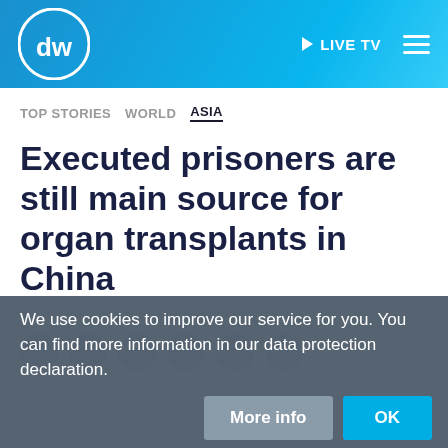DW | LIVE TV
TOP STORIES   WORLD   ASIA
Executed prisoners are still main source for organ transplants in China
We use cookies to improve our service for you. You can find more information in our data protection declaration.